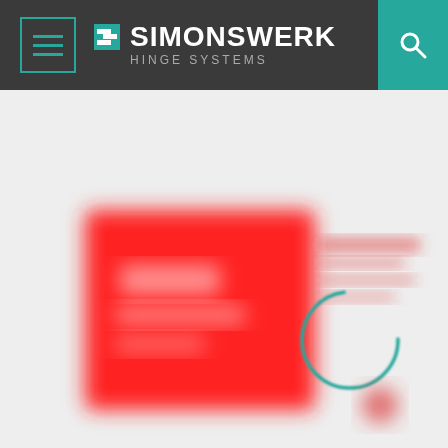SIMONSWERK HINGE SYSTEMS
[Figure (screenshot): Blurred content area showing a red product card with a circular loading indicator (teal outline) overlaid on a light gray background. The red card contains white text (blurred/illegible). To the right of the card are blurred red text lines. A small red circular element appears in the lower right area.]